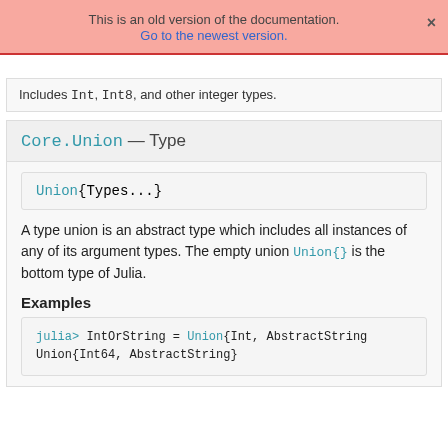This is an old version of the documentation. Go to the newest version.
Includes Int, Int8, and other integer types.
Core.Union — Type
Union{Types...}
A type union is an abstract type which includes all instances of any of its argument types. The empty union Union{} is the bottom type of Julia.
Examples
julia> IntOrString = Union{Int, AbstractString
Union{Int64, AbstractString}